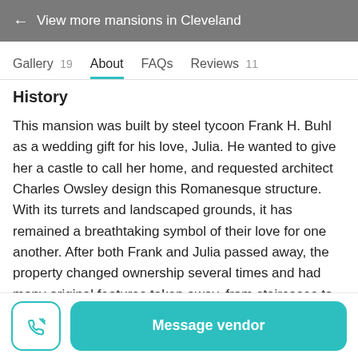← View more mansions in Cleveland
Gallery 19   About   FAQs   Reviews 11
History
This mansion was built by steel tycoon Frank H. Buhl as a wedding gift for his love, Julia. He wanted to give her a castle to call her home, and requested architect Charles Owsley design this Romanesque structure. With its turrets and landscaped grounds, it has remained a breathtaking symbol of their love for one another. After both Frank and Julia passed away, the property changed ownership several times and had many original features taken away, from staircases to chandeliers. Jim and Donna Winner, however, have lovingly returned the house to its original state. They
Message vendor